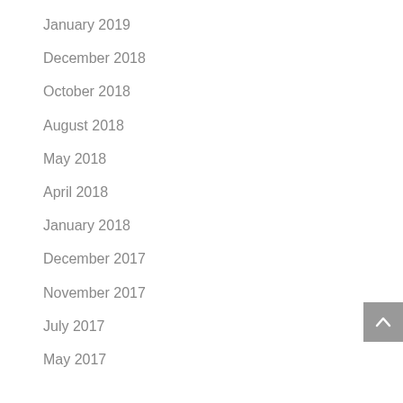January 2019
December 2018
October 2018
August 2018
May 2018
April 2018
January 2018
December 2017
November 2017
July 2017
May 2017